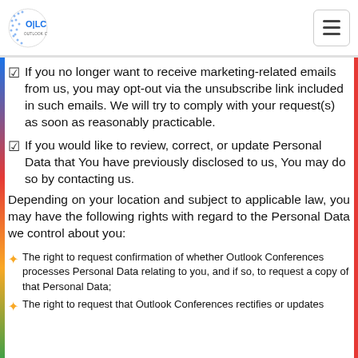OILC OUTLOOK CONFERENCES
☑ If you no longer want to receive marketing-related emails from us, you may opt-out via the unsubscribe link included in such emails. We will try to comply with your request(s) as soon as reasonably practicable.
☑ If you would like to review, correct, or update Personal Data that You have previously disclosed to us, You may do so by contacting us.
Depending on your location and subject to applicable law, you may have the following rights with regard to the Personal Data we control about you:
The right to request confirmation of whether Outlook Conferences processes Personal Data relating to you, and if so, to request a copy of that Personal Data;
The right to request that Outlook Conferences rectifies or updates